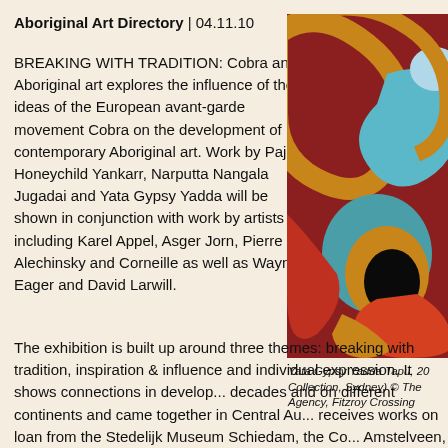Aboriginal Art Directory | 04.11.10
BREAKING WITH TRADITION: Cobra and Aboriginal art explores the influence of the ideas of the European avant-garde movement Cobra on the development of contemporary Aboriginal art. Work by Paji Honeychild Yankarr, Narputta Nangala Jugadai and Yata Gypsy Yadda will be shown in conjunction with work by artists including Karel Appel, Asger Jorn, Pierre Alechinsky and Corneille as well as Wayne Eager and David Larwill.
[Figure (photo): Abstract Aboriginal artwork with swirling forms in red, orange, blue, teal, and dark colours — appears to be a painting by Yata Gypsy Yadda]
Yata Gypsy Yadda Tapu, 20... Collection, Sydney) © The Agency, Fitzroy Crossing
The exhibition is built up around three themes: breaking with tradition, inspiration & influence and individual expression. It shows connections in develop... decades and on different continents and came together in Central Au... receives works on loan from the Stedelijk Museum Schiedam, the Co... Amstelveen, the Museum Ludwig in Cologne and various private coll...